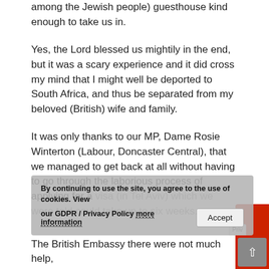among the Jewish people) guesthouse kind enough to take us in.
Yes, the Lord blessed us mightily in the end, but it was a scary experience and it did cross my mind that I might well be deported to South Africa, and thus be separated from my beloved (British) wife and family.
It was only thanks to our MP, Dame Rosie Winterton (Labour, Doncaster Central), that we managed to get back at all without having to go through the laborious process of applying for a visa (in Tel Aviv) which we were told could take up to six weeks.
The British Embassy there were not much help,